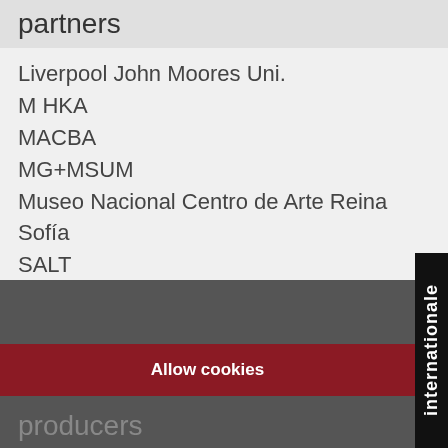partners
Liverpool John Moores Uni.
M HKA
MACBA
MG+MSUM
Museo Nacional Centro de Arte Reina Sofía
SALT
Valand Academy
We use cookies to ensure better user experience on our website. Cookie Policy
Allow cookies
internationale
producers